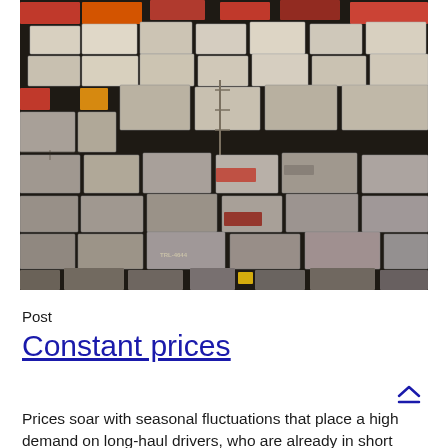[Figure (photo): Aerial view of a large freight yard with numerous shipping containers and trailers stacked and arranged in rows, some orange-colored and many white/grey, on a dark asphalt surface.]
Post
Constant prices
Prices soar with seasonal fluctuations that place a high demand on long-haul drivers, who are already in short supply. Rates for